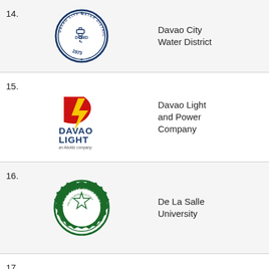14. Davao City Water District
[Figure (logo): Davao City Water District (DCWD) circular seal logo with faucet and text '1973', navy blue]
Davao City Water District
15. Davao Light and Power Company
[Figure (logo): Davao Light logo with red 'D' shape, yellow lightning bolt, and navy blue text 'DAVAO LIGHT' with 'an Aboitiz company']
Davao Light and Power Company
16. De La Salle University
[Figure (logo): De La Salle University Manila green badge/seal logo with star and text]
De La Salle University
17. Department of
[Figure (logo): Department of Environment and Natural (Resources) circular logo, partially visible, green and blue]
Department of